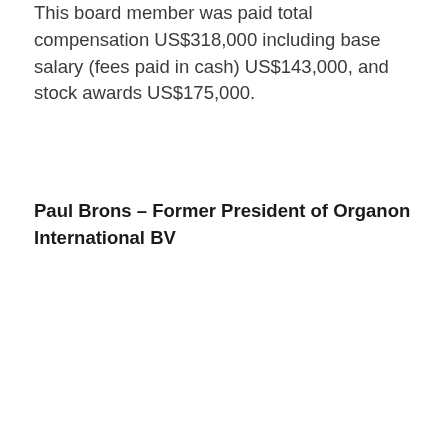This board member was paid total compensation US$318,000 including base salary (fees paid in cash) US$143,000, and stock awards US$175,000.
Paul Brons – Former President of Organon International BV